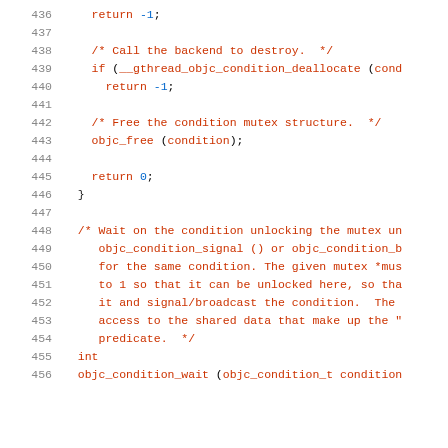Source code listing, lines 436–456, showing C code for condition variable destruction and wait function.